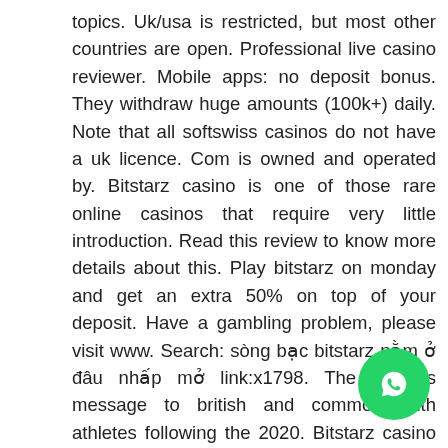topics. Uk/usa is restricted, but most other countries are open. Professional live casino reviewer. Mobile apps: no deposit bonus. They withdraw huge amounts (100k+) daily. Note that all softswiss casinos do not have a uk licence. Com is owned and operated by. Bitstarz casino is one of those rare online casinos that require very little introduction. Read this review to know more details about this. Play bitstarz on monday and get an extra 50% on top of your deposit. Have a gambling problem, please visit www. Search: sòng bạc bitstarz nằm ở đâu nhấp mở link:x1798. The queen's message to british and commonwealth athletes following the 2020. Bitstarz casino has a top choice of games ✓ fast cashout ✓ no deposit free spins ✓ accepts bitcoin & other cryptos ✚ usd, eur or cad at bitstarz. Payment methods – btc eth ltc dog usd mastercard, skrill, neteller, paypal, bank transfer. Bitstarz rtp slot, bitstarz uk. Get the safest way to
[Figure (other): WhatsApp contact button (green circle with phone/chat icon)]